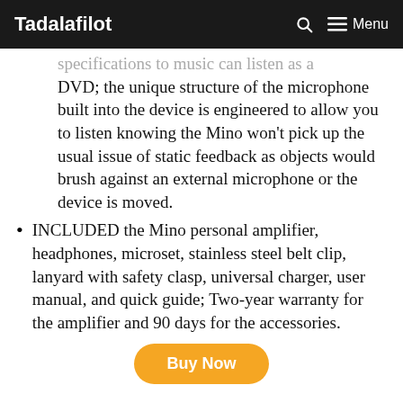Tadalafilot | Menu
specifications to music can listen as a DVD; the unique structure of the microphone built into the device is engineered to allow you to listen knowing the Mino won't pick up the usual issue of static feedback as objects would brush against an external microphone or the device is moved.
INCLUDED the Mino personal amplifier, headphones, microset, stainless steel belt clip, lanyard with safety clasp, universal charger, user manual, and quick guide; Two-year warranty for the amplifier and 90 days for the accessories.
Buy Now